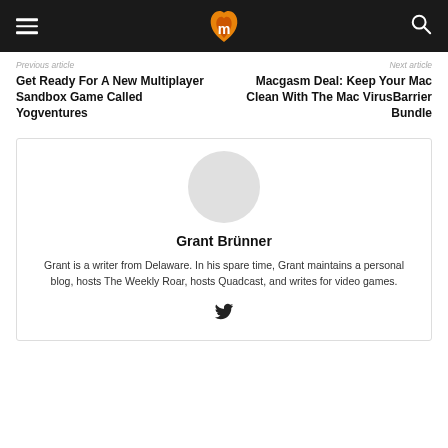Macgasm site header with logo, hamburger menu, and search icon
Previous article
Get Ready For A New Multiplayer Sandbox Game Called Yogventures
Next article
Macgasm Deal: Keep Your Mac Clean With The Mac VirusBarrier Bundle
Grant Brünner
Grant is a writer from Delaware. In his spare time, Grant maintains a personal blog, hosts The Weekly Roar, hosts Quadcast, and writes for video games.